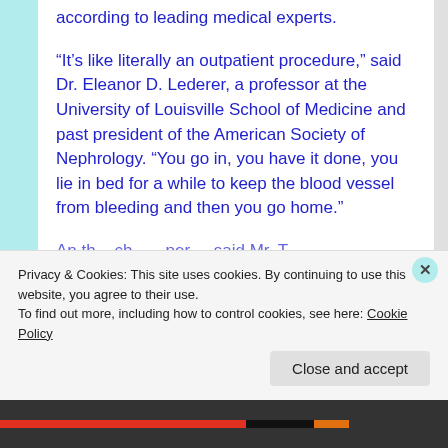according to leading medical experts.
“It’s like literally an outpatient procedure,” said Dr. Eleanor D. Lederer, a professor at the University of Louisville School of Medicine and past president of the American Society of Nephrology. “You go in, you have it done, you lie in bed for a while to keep the blood vessel from bleeding and then you go home.”
An other character per said Mr. T...
Privacy & Cookies: This site uses cookies. By continuing to use this website, you agree to their use.
To find out more, including how to control cookies, see here: Cookie Policy